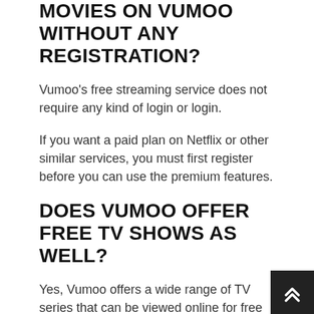MOVIES ON VUMOO WITHOUT ANY REGISTRATION?
Vumoo’s free streaming service does not require any kind of login or login.
If you want a paid plan on Netflix or other similar services, you must first register before you can use the premium features.
DOES VUMOO OFFER FREE TV SHOWS AS WELL?
Yes, Vumoo offers a wide range of TV series that can be viewed online for free on your PC or mobile device.
It also includes a number of recently released games.
WHAT IS THE NAVIGATION LIKE I